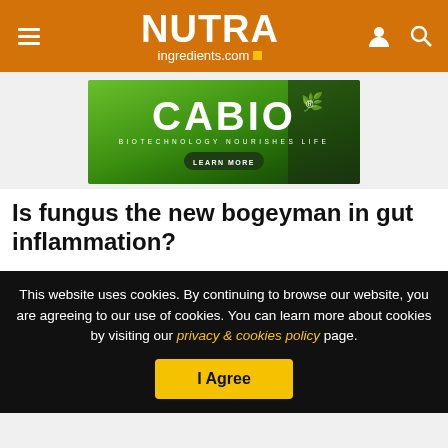NUTRAingredients.com
[Figure (illustration): CABIO Biotechnology Nourishes Life advertisement banner with green gradient background, large white CABIO logo with leaf icon, tagline BIOTECHNOLOGY NOURISHES LIFE, and LEARN MORE button]
Is fungus the new bogeyman in gut inflammation?
This website uses cookies. By continuing to browse our website, you are agreeing to our use of cookies. You can learn more about cookies by visiting our privacy & cookies policy page.
I Agree